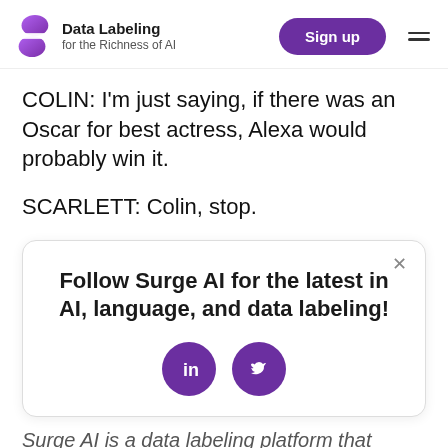Data Labeling for the Richness of AI | Sign up
COLIN: I'm just saying, if there was an Oscar for best actress, Alexa would probably win it.
SCARLETT: Colin, stop.
[Figure (infographic): Popup box with text 'Follow Surge AI for the latest in AI, language, and data labeling!' and LinkedIn and Twitter social media icons]
Surge AI is a data labeling platform that provides world-class data to top AI